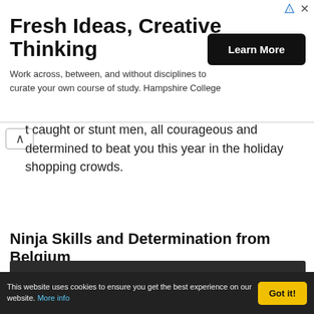[Figure (screenshot): Advertisement banner for Hampshire College with title 'Fresh Ideas, Creative Thinking', body text 'Work across, between, and without disciplines to curate your own course of study. Hampshire College', a black 'Learn More' button, and ad icons in top right.]
t caught or stunt men, all courageous and determined to beat you this year in the holiday shopping crowds.
Ninja Skills and Determination from Belgium
[Figure (screenshot): Embedded YouTube video player showing 'Video unavailable. This video is unavailable.' with a circle exclamation icon on a dark background.]
This website uses cookies to ensure you get the best experience on our website. More info